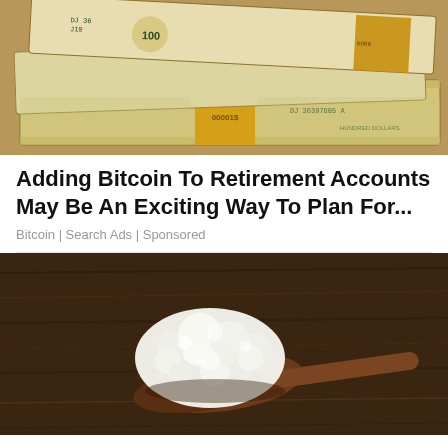[Figure (photo): Stacked bundles of US $100 dollar bills with yellow/gold paper bands, showing serial numbers DJ36397805A and markings 00001$]
Adding Bitcoin To Retirement Accounts May Be An Exciting Way To Plan For...
Bitcoin | Search Ads | Sponsored
[Figure (photo): A wooden spoon holding white cottage cheese or kefir grains on a rustic dark wooden table background]